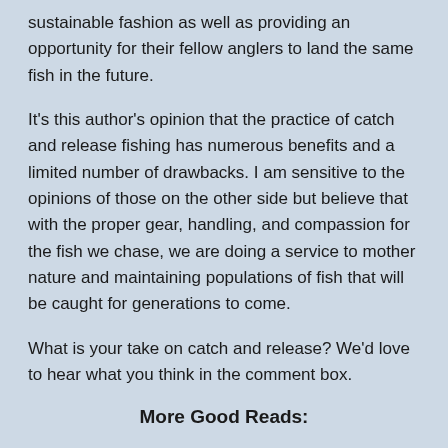sustainable fashion as well as providing an opportunity for their fellow anglers to land the same fish in the future.
It's this author's opinion that the practice of catch and release fishing has numerous benefits and a limited number of drawbacks. I am sensitive to the opinions of those on the other side but believe that with the proper gear, handling, and compassion for the fish we chase, we are doing a service to mother nature and maintaining populations of fish that will be caught for generations to come.
What is your take on catch and release? We'd love to hear what you think in the comment box.
More Good Reads: